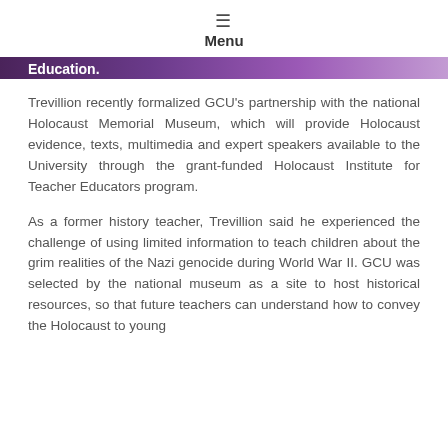Menu
Education.
Trevillion recently formalized GCU's partnership with the national Holocaust Memorial Museum, which will provide Holocaust evidence, texts, multimedia and expert speakers available to the University through the grant-funded Holocaust Institute for Teacher Educators program.
As a former history teacher, Trevillion said he experienced the challenge of using limited information to teach children about the grim realities of the Nazi genocide during World War II. GCU was selected by the national museum as a site to host historical resources, so that future teachers can understand how to convey the Holocaust to young